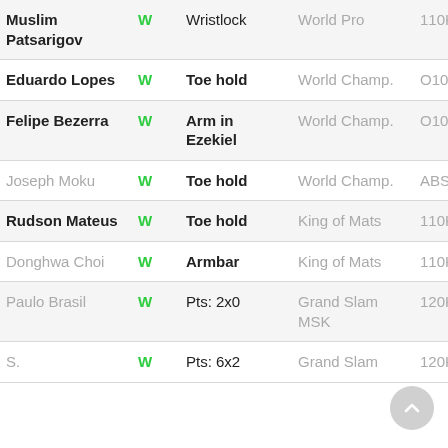| Opponent | Result | Method | Event | Weight |
| --- | --- | --- | --- | --- |
| Muslim Patsarigov | W | Wristlock | World Pro | 110KG |
| Eduardo Lopes | W | Toe hold | World Champ. | O100KG |
| Felipe Bezerra | W | Arm in Ezekiel | World Champ. | O100KG |
| Joseph Moku | W | Toe hold | World Champ. | ABS |
| Rudson Mateus | W | Toe hold | King of Mats | 110KG |
| Donghwa Choi | W | Armbar | King of Mats | 110KG |
| Paulo Brasil | W | Pts: 2x0 | Grand Slam MSK | 120KG |
| S. | W | Pts: 6x2 | Grand Slam | 120KG |